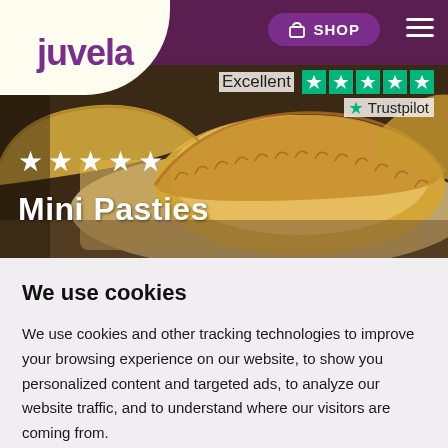[Figure (screenshot): Juvela website hero section showing mini pasties on a wooden board, with purple navigation bar, Juvela logo, Shop button, hamburger menu, Trustpilot rating showing Excellent with 5 green stars, and white star rating with Mini Pasties label overlaid on the food photo.]
We use cookies
We use cookies and other tracking technologies to improve your browsing experience on our website, to show you personalized content and targeted ads, to analyze our website traffic, and to understand where our visitors are coming from.